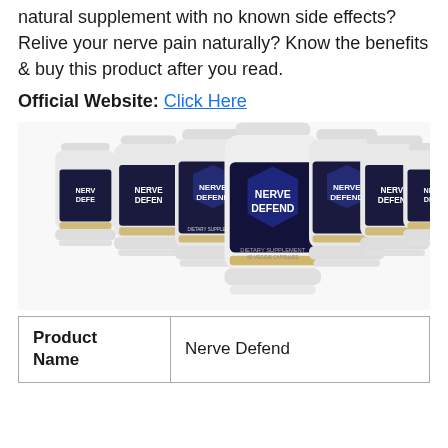natural supplement with no known side effects? Relive your nerve pain naturally? Know the benefits & buy this product after you read.
Official Website: Click Here
[Figure (photo): Seven white supplement bottles labeled 'NERVE DEFEND Dietary Supplement 60 Veggie Capsules' arranged in a fan/arc display. The center bottle is most prominent, with bottles receding on each side.]
| Product Name | Nerve Defend |